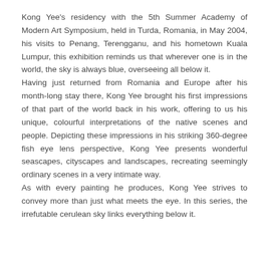Kong Yee's residency with the 5th Summer Academy of Modern Art Symposium, held in Turda, Romania, in May 2004, his visits to Penang, Terengganu, and his hometown Kuala Lumpur, this exhibition reminds us that wherever one is in the world, the sky is always blue, overseeing all below it.
Having just returned from Romania and Europe after his month-long stay there, Kong Yee brought his first impressions of that part of the world back in his work, offering to us his unique, colourful interpretations of the native scenes and people. Depicting these impressions in his striking 360-degree fish eye lens perspective, Kong Yee presents wonderful seascapes, cityscapes and landscapes, recreating seemingly ordinary scenes in a very intimate way.
As with every painting he produces, Kong Yee strives to convey more than just what meets the eye. In this series, the irrefutable cerulean sky links everything below it.